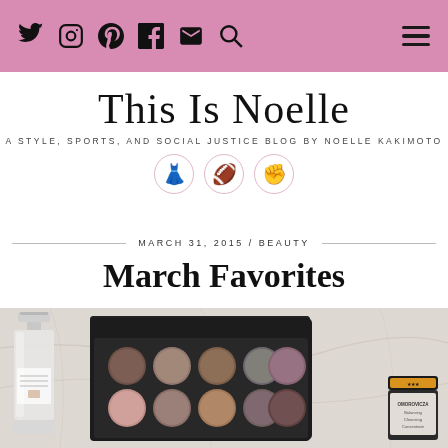Navigation bar with social icons (Twitter, Instagram, Pinterest, Facebook, Email, Search) and hamburger menu on pink background
This Is Noelle
A STYLE, SPORTS, AND SOCIAL JUSTICE BLOG BY NOELLE KAKIMOTO
[Figure (illustration): Three circular emoji icons: red dress, football, raised fist on pink-tinted circles]
MARCH 31, 2015 / BEAUTY
March Favorites
[Figure (photo): Flat lay photo on marble surface showing an eyeshadow palette with 10 neutral shades in a black case, a Jo Malone perfume bottle on the left, and a skincare jar on the right]